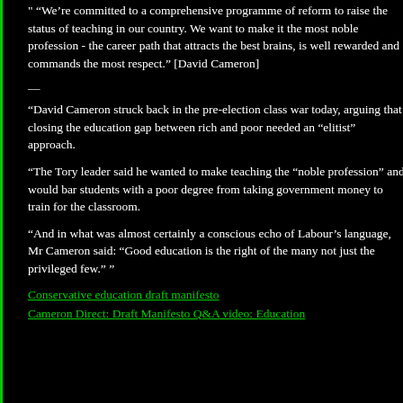" “We’re committed to a comprehensive programme of reform to raise the status of teaching in our country. We want to make it the most noble profession - the career path that attracts the best brains, is well rewarded and commands the most respect.” [David Cameron]
—
“David Cameron struck back in the pre-election class war today, arguing that closing the education gap between rich and poor needed an “elitist” approach.
“The Tory leader said he wanted to make teaching the “noble profession” and would bar students with a poor degree from taking government money to train for the classroom.
“And in what was almost certainly a conscious echo of Labour’s language, Mr Cameron said: “Good education is the right of the many not just the privileged few.” ”
Conservative education draft manifesto
Cameron Direct: Draft Manifesto Q&A video: Education